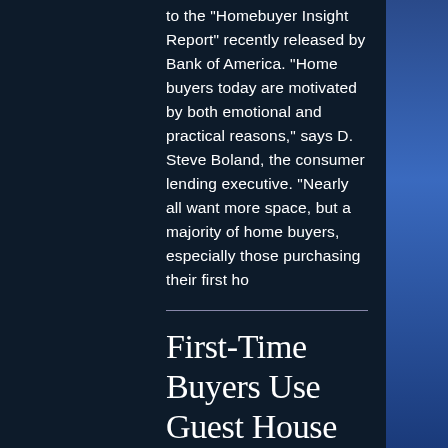to the “Homebuyer Insight Report” recently released by Bank of America. “Home buyers today are motivated by both emotional and practical reasons,” says D. Steve Boland, the consumer lending executive. “Nearly all want more space, but a majority of home buyers, especially those purchasing their first ho
First-Time Buyers Use Guest House for Savings
DAILY REAL ESTATE NEWS | MONDAY, APRIL 11, 2016 Some first-time buyers are finding ways to cover the costs of home ownership by purchasing a multi-unit home that can accommodate a mother-in-law apartment or